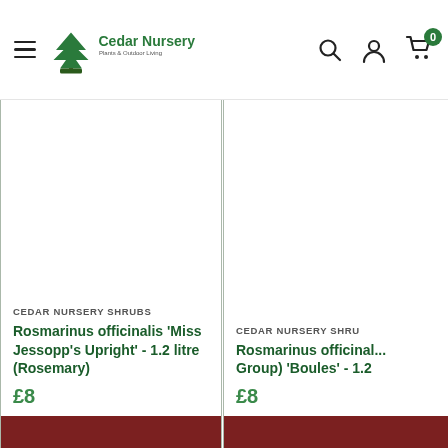Cedar Nursery - Plants & Outdoor Living
CEDAR NURSERY SHRUBS
Rosmarinus officinalis 'Miss Jessopp's Upright' - 1.2 litre (Rosemary)
£8
CEDAR NURSERY SHRU...
Rosmarinus officinal... Group) 'Boules' - 1.2...
£8